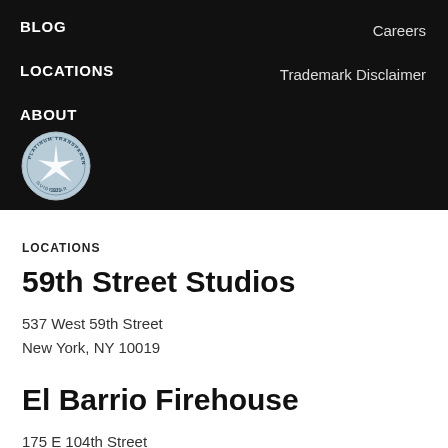BLOG
LOCATIONS
ABOUT
Careers
Trademark Disclaimer
[Figure (logo): GuideStar Platinum Transparency 2021 seal/badge]
LOCATIONS
59th Street Studios
537 West 59th Street
New York, NY 10019
El Barrio Firehouse
175 E 104th Street